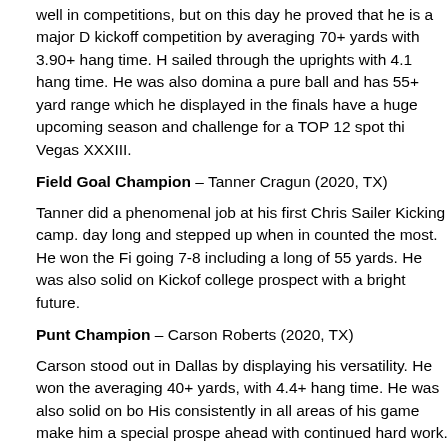well in competitions, but on this day he proved that he is a major D kickoff competition by averaging 70+ yards with 3.90+ hang time. H sailed through the uprights with 4.1 hang time. He was also domina a pure ball and has 55+ yard range which he displayed in the finals have a huge upcoming season and challenge for a TOP 12 spot thi Vegas XXXIII.
Field Goal Champion – Tanner Cragun (2020, TX)
Tanner did a phenomenal job at his first Chris Sailer Kicking camp. day long and stepped up when in counted the most. He won the Fi going 7-8 including a long of 55 yards. He was also solid on Kickof college prospect with a bright future.
Punt Champion – Carson Roberts (2020, TX)
Carson stood out in Dallas by displaying his versatility. He won the averaging 40+ yards, with 4.4+ hang time. He was also solid on bo His consistently in all areas of his game make him a special prospe ahead with continued hard work.
Class of 2019 Standouts: Brandon Talton, Camden Broderson, Al